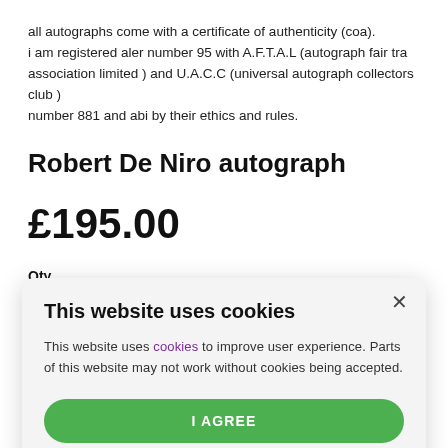all autographs come with a certificate of authenticity (coa).
i am registered aler number 95 with A.F.T.A.L (autograph fair tra association limited ) and U.A.C.C (universal autograph collectors club ) number 881 and abi by their ethics and rules.
Robert De Niro autograph
£195.00
Qty
This website uses cookies
This website uses cookies to improve user experience. Parts of this website may not work without cookies being accepted.
I AGREE